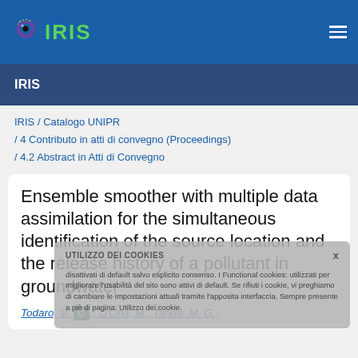[Figure (logo): IRIS repository logo with green text on blue background header bar]
IRIS
IRIS / Catalogo UNIPR / 4 Contributo in atti di convegno (Proceedings) / 4.2 Abstract in Atti di Convegno
Ensemble smoother with multiple data assimilation for the simultaneous identification of the source location and the release history of a pollutant in groundwater
Todaro, V. ; D'Oria, M.; Tanda, M. G.;